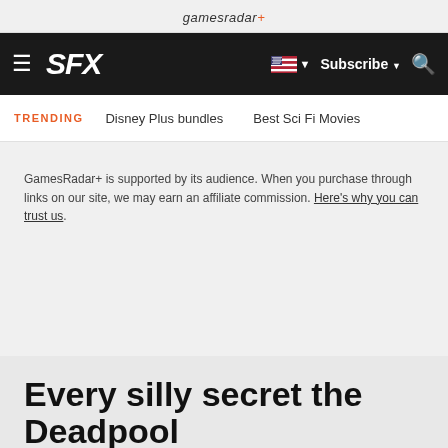gamesradar+
SFX | Subscribe | Search
TRENDING | Disney Plus bundles | Best Sci Fi Movies
GamesRadar+ is supported by its audience. When you purchase through links on our site, we may earn an affiliate commission. Here's why you can trust us.
Every silly secret the Deadpool